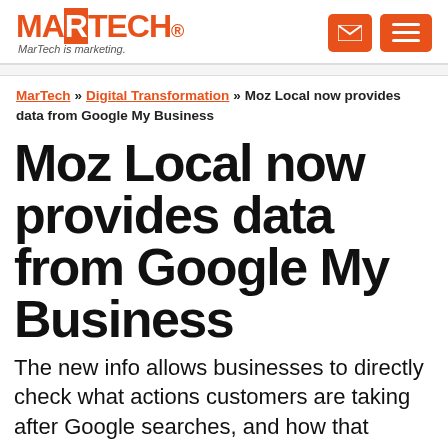MARTECH — MarTech is marketing.
MarTech » Digital Transformation » Moz Local now provides data from Google My Business
Moz Local now provides data from Google My Business
The new info allows businesses to directly check what actions customers are taking after Google searches, and how that